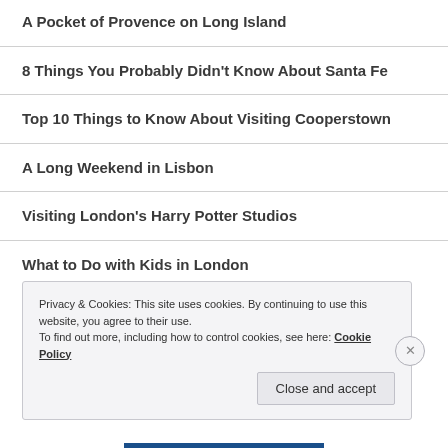A Pocket of Provence on Long Island
8 Things You Probably Didn’t Know About Santa Fe
Top 10 Things to Know About Visiting Cooperstown
A Long Weekend in Lisbon
Visiting London’s Harry Potter Studios
What to Do with Kids in London
Privacy & Cookies: This site uses cookies. By continuing to use this website, you agree to their use.
To find out more, including how to control cookies, see here: Cookie Policy
Close and accept